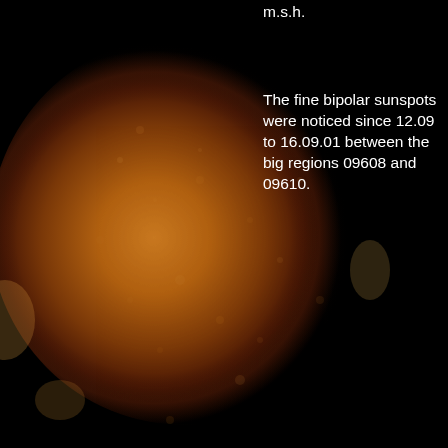[Figure (photo): Photograph of the Sun showing its surface with sunspot regions visible, dark background, warm orange/amber tones of the solar disk with visible granulation and active regions.]
m.s.h.
The fine bipolar sunspots were noticed since 12.09 to 16.09.01 between the big regions 09608 and 09610.
NOAA 09618
The fine bipolar group was observed at the mid latitudes of the Northern hemisphere since 13.09 to 21.09.01. The head sunspot had
NOAA 09619